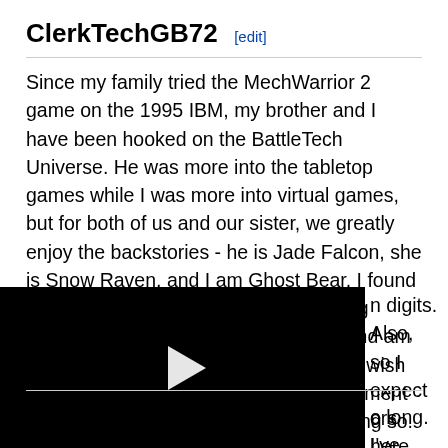ClerkTechGB72 [edit]
Since my family tried the MechWarrior 2 game on the 1995 IBM, my brother and I have been hooked on the BattleTech Universe. He was more into the tabletop games while I was more into virtual games, but for both of us and our sister, we greatly enjoy the backstories - he is Jade Falcon, she is Snow Raven, and I am Ghost Bear. I found this site to be very useful for conducting research as I dabble in game editing and am more of a game master than a player. I wish to contribute to the growth and improvement of this site and have already begun doing so. I have several original …n digits. Also, …so I expect …ors here.
[Figure (screenshot): Black video player overlay with a white play button triangle in the center]
…o long. I've …roup here in